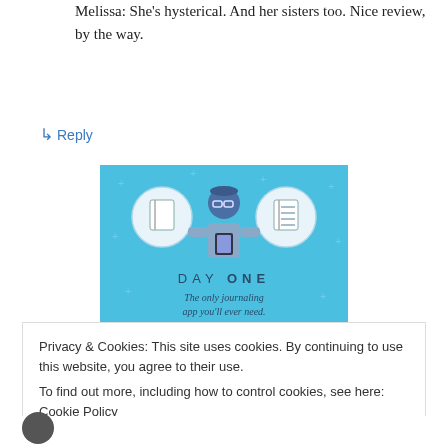Melissa: She's hysterical. And her sisters too. Nice review, by the way.
↳ Reply
[Figure (illustration): Day One journaling app advertisement on a blue background. Shows a person holding a phone flanked by two circular icons of notebooks. Text reads 'DAY ONE' and 'The only journaling app you'll ever need.']
Privacy & Cookies: This site uses cookies. By continuing to use this website, you agree to their use.
To find out more, including how to control cookies, see here: Cookie Policy
Close and accept